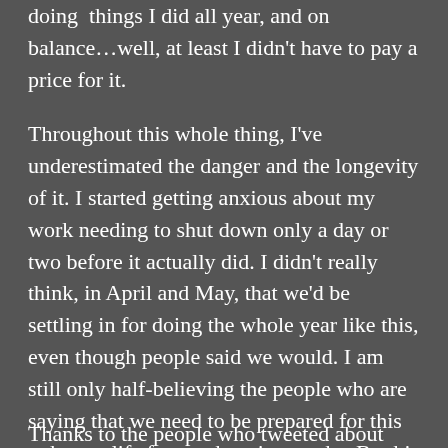doing  things I did all year, and on balance…well, at least I didn't have to pay a price for it.
Throughout this whole thing, I've underestimated the danger and the longevity of it. I started getting anxious about my work needing to shut down only a day or two before it actually did. I didn't really think, in April and May, that we'd be settling in for doing the whole year like this, even though people said we would. I am still only half-believing the people who are saying that we need to be prepared for this to be our life for another six months. By this time I know to trust other people and not my instincts, and that my disbelief/disunderstanding is probably more self-preservation than anything else.
Thanks to the people who tweeted about non-